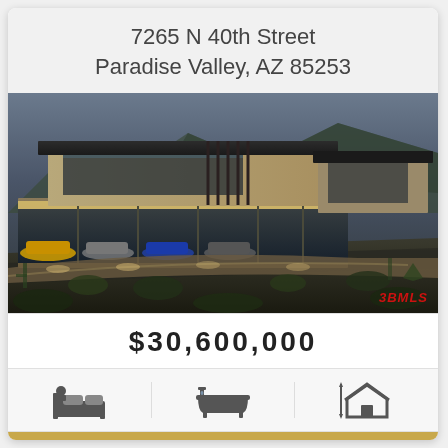7265 N 40th Street
Paradise Valley, AZ 85253
[Figure (photo): Luxury modern house exterior at dusk, multi-level architecture built into a hillside with illuminated garage showing multiple exotic cars, desert landscaping, mountain backdrop]
$30,600,000
[Figure (other): Three property icons: bed/bedroom icon, bathtub icon, house with height measurement icon]
New Property Search